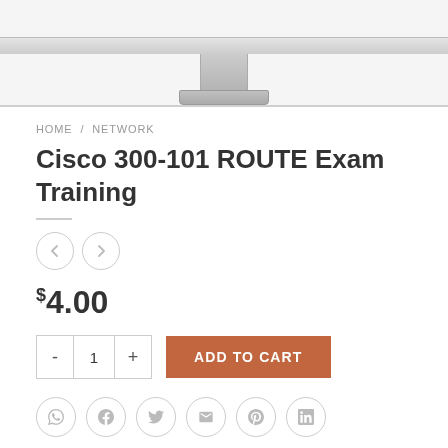[Figure (illustration): Bottom portion of an Apple iMac monitor showing the stand neck and base, rendered as a screenshot of a product page with light gray monitor frame]
HOME / NETWORK
Cisco 300-101 ROUTE Exam Training
$4.00
ADD TO CART
[Figure (illustration): Row of six circular social sharing icons: WhatsApp, Facebook, Twitter, Email, Pinterest, LinkedIn]